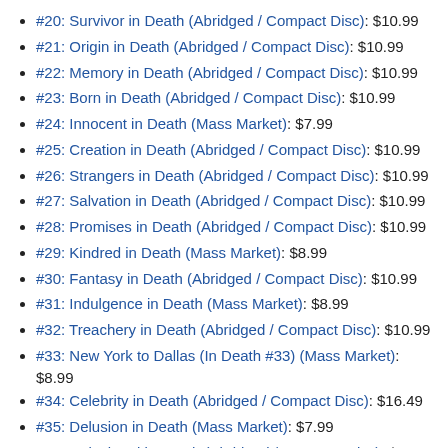#20: Survivor in Death (Abridged / Compact Disc): $10.99
#21: Origin in Death (Abridged / Compact Disc): $10.99
#22: Memory in Death (Abridged / Compact Disc): $10.99
#23: Born in Death (Abridged / Compact Disc): $10.99
#24: Innocent in Death (Mass Market): $7.99
#25: Creation in Death (Abridged / Compact Disc): $10.99
#26: Strangers in Death (Abridged / Compact Disc): $10.99
#27: Salvation in Death (Abridged / Compact Disc): $10.99
#28: Promises in Death (Abridged / Compact Disc): $10.99
#29: Kindred in Death (Mass Market): $8.99
#30: Fantasy in Death (Abridged / Compact Disc): $10.99
#31: Indulgence in Death (Mass Market): $8.99
#32: Treachery in Death (Abridged / Compact Disc): $10.99
#33: New York to Dallas (In Death #33) (Mass Market): $8.99
#34: Celebrity in Death (Abridged / Compact Disc): $16.49
#35: Delusion in Death (Mass Market): $7.99
#36: Calculated in Death (Abridged / Compact Disc): $16.49
#37: Thankless in Death (Abridged / Compact Disc): $14.29
#38: Concealed in Death (Mass Market): $8.99
#39: Festive in Death (Mass Market): $8.99
#40: Obsession in Death (Mass Market): $8.99